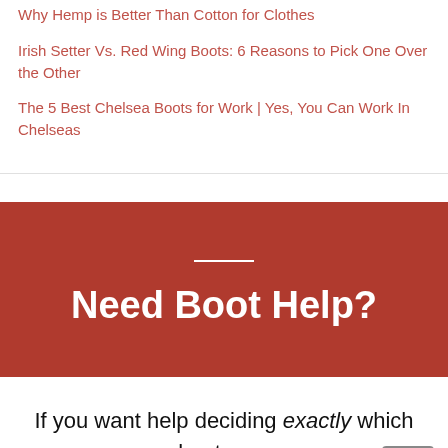Why Hemp is Better Than Cotton for Clothes
Irish Setter Vs. Red Wing Boots: 6 Reasons to Pick One Over the Other
The 5 Best Chelsea Boots for Work | Yes, You Can Work In Chelseas
Need Boot Help?
If you want help deciding exactly which boots are for you, let's talk!